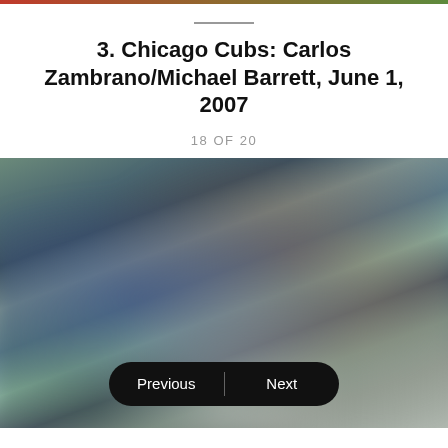[Figure (photo): Thin colored image strip at top of page (partial image from previous slide)]
3. Chicago Cubs: Carlos Zambrano/Michael Barrett, June 1, 2007
18 OF 20
[Figure (photo): Blurred photograph showing baseball players in an altercation, Chicago Cubs uniforms visible]